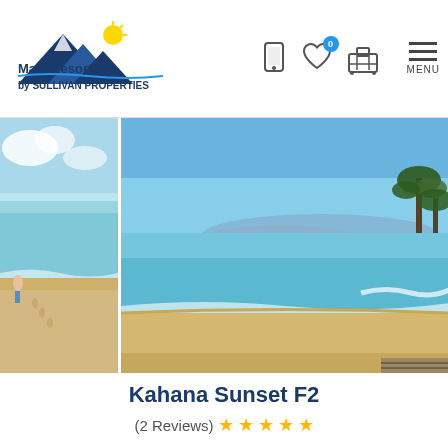Maui Resorts by SULLIVAN PROPERTIES
[Figure (photo): Two beach photos side by side: left shows a sandy beach with calm turquoise water and a person wading; right shows a larger beach scene with clear blue sky, turquoise ocean, distant mountains, rocky outcrop with palm trees]
Kahana Sunset F2
(2 Reviews) ★★★★★